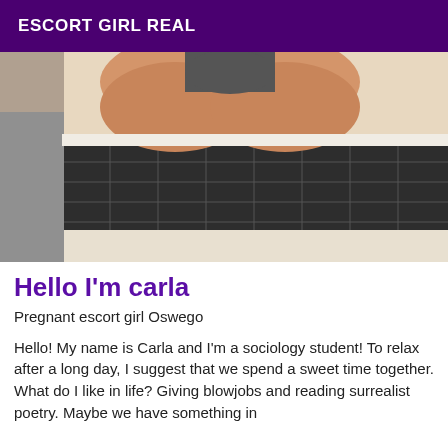ESCORT GIRL REAL
[Figure (photo): A photo taken in a bathroom showing a tiled shower/bath area with dark tiles and hexagonal white floor tiles.]
Hello I'm carla
Pregnant escort girl Oswego
Hello! My name is Carla and I'm a sociology student! To relax after a long day, I suggest that we spend a sweet time together. What do I like in life? Giving blowjobs and reading surrealist poetry. Maybe we have something in